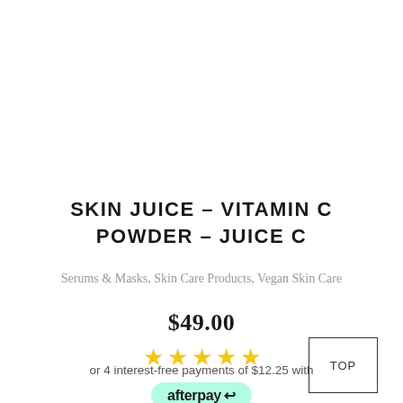SKIN JUICE – VITAMIN C POWDER – JUICE C
Serums & Masks, Skin Care Products, Vegan Skin Care
$49.00
[Figure (other): 5 gold star rating icons]
[Figure (other): TOP button — square outline with text TOP]
or 4 interest-free payments of $12.25 with
[Figure (logo): Afterpay logo on mint green rounded rectangle background]